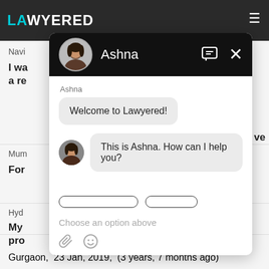[Figure (screenshot): Screenshot of a legal website 'Lawyered' with a chat popup overlay. The site shows navigation and lawyer listings in the background. A chat widget from 'Ashna' is open with messages: 'Welcome to Lawyered!' and 'This is Ashna. How can I help you?' with input area showing 'Choose an option above'.]
Ashna
Welcome to Lawyered!
This is Ashna. How can I help you?
Choose an option above
Gurgaon,  23 Jan, 2019,  (3 years, 7 months ago)